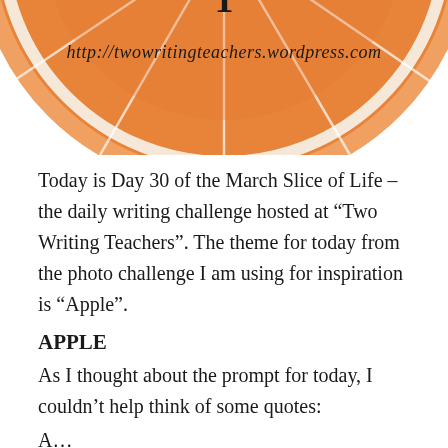[Figure (photo): Partial orange/citrus slice image with text overlay reading 'http://twowritingteachers.wordpress.com', cropped at top showing the lower portion of the circular orange slice]
Today is Day 30 of the March Slice of Life – the daily writing challenge hosted at “Two Writing Teachers”. The theme for today from the photo challenge I am using for inspiration is “Apple”.
APPLE
As I thought about the prompt for today, I couldn’t help think of some quotes:
A…